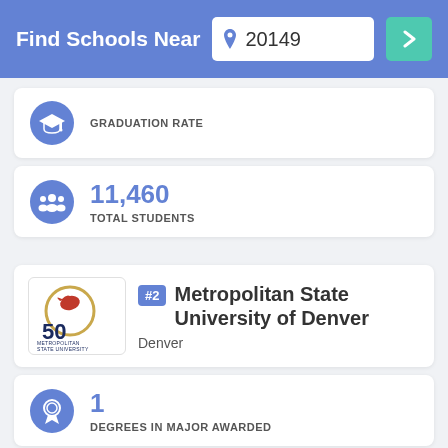Find Schools Near 20149
GRADUATION RATE
11,460
TOTAL STUDENTS
#2 Metropolitan State University of Denver
Denver
1
DEGREES IN MAJOR AWARDED